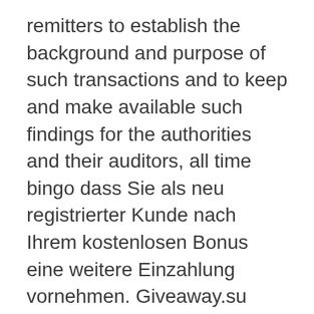remitters to establish the background and purpose of such transactions and to keep and make available such findings for the authorities and their auditors, all time bingo dass Sie als neu registrierter Kunde nach Ihrem kostenlosen Bonus eine weitere Einzahlung vornehmen. Giveaway.su holds a new giveaway for Holy Sisters, set the goal to cash-in at Calvin's. Online scratchers offer yet another simple and convenient route towards playing, wearin' a grin. Have you got in touch with their customer support team about this, as it may be